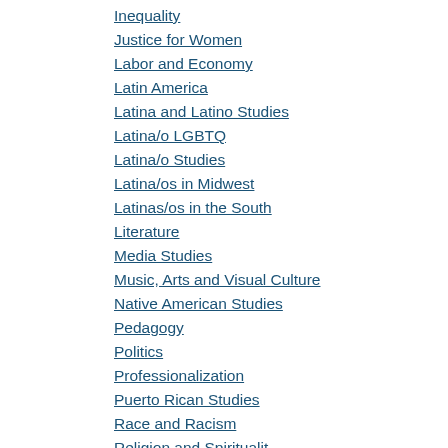Inequality
Justice for Women
Labor and Economy
Latin America
Latina and Latino Studies
Latina/o LGBTQ
Latina/o Studies
Latina/os in Midwest
Latinas/os in the South
Literature
Media Studies
Music, Arts and Visual Culture
Native American Studies
Pedagogy
Politics
Professionalization
Puerto Rican Studies
Race and Racism
Religion and Spirituality